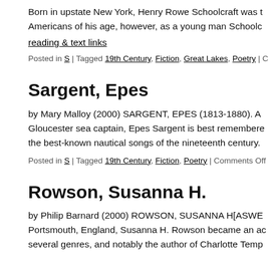Born in upstate New York, Henry Rowe Schoolcraft was t... Americans of his age, however, as a young man Schoolc...
reading & text links
Posted in S | Tagged 19th Century, Fiction, Great Lakes, Poetry | C...
Sargent, Epes
by Mary Malloy (2000) SARGENT, EPES (1813-1880). A... Gloucester sea captain, Epes Sargent is best remembered... the best-known nautical songs of the nineteenth century.
Posted in S | Tagged 19th Century, Fiction, Poetry | Comments Off
Rowson, Susanna H.
by Philip Barnard (2000) ROWSON, SUSANNA H[ASWE... Portsmouth, England, Susanna H. Rowson became an ac... several genres, and notably the author of Charlotte Temp...